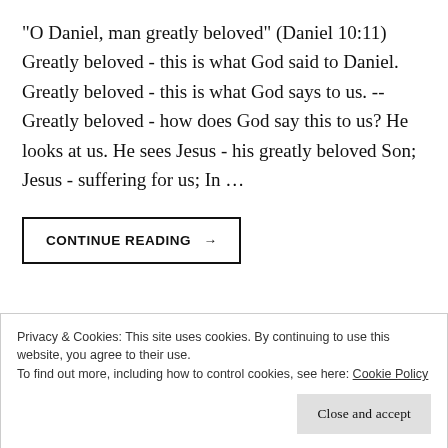"O Daniel, man greatly beloved" (Daniel 10:11) Greatly beloved - this is what God said to Daniel. Greatly beloved - this is what God says to us. -- Greatly beloved - how does God say this to us? He looks at us. He sees Jesus - his greatly beloved Son; Jesus - suffering for us; In …
CONTINUE READING →
Privacy & Cookies: This site uses cookies. By continuing to use this website, you agree to their use.
To find out more, including how to control cookies, see here: Cookie Policy